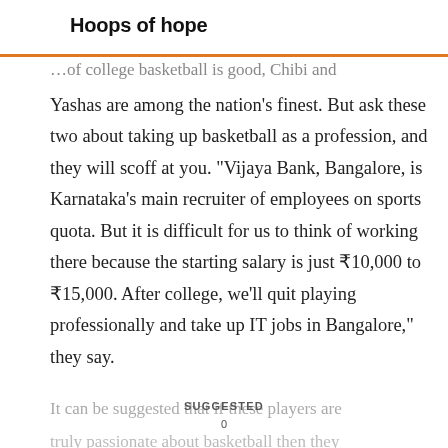Hoops of hope
Yashas are among the nation's finest. But ask these two about taking up basketball as a profession, and they will scoff at you. “Vijaya Bank, Bangalore, is Karnataka’s main recruiter of employees on sports quota. But it is difficult for us to think of working there because the starting salary is just ₹10,000 to ₹15,000. After college, we’ll quit playing professionally and take up IT jobs in Bangalore,” they say.
It can be suggested that if these players are truly passionate about basketball then they